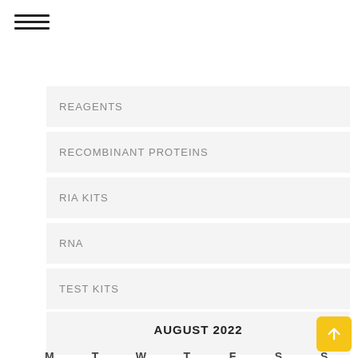[Figure (other): Hamburger menu icon (three horizontal lines)]
REAGENTS
RECOMBINANT PROTEINS
RIA KITS
RNA
TEST KITS
VECTOR & VIRUS
WESTERN BLOT
AUGUST 2022
M  T  W  T  F  S  S